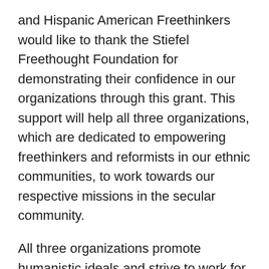and Hispanic American Freethinkers would like to thank the Stiefel Freethought Foundation for demonstrating their confidence in our organizations through this grant. This support will help all three organizations, which are dedicated to empowering freethinkers and reformists in our ethnic communities, to work towards our respective missions in the secular community.
All three organizations promote humanistic ideals and strive to work for the rights of non-theists, and are 501c3 nonprofit under the federal tax exemption guidelines.
“The existence of a thriving Ex-Muslim community is vital for promoting reform and creating space for dissent within Islamic communities.” said Muhammad